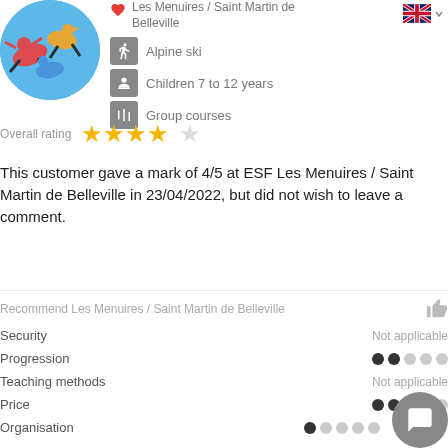[Figure (photo): Circular profile photo showing skiers in colorful gear against a blue sky]
Les Menuires / Saint Martin de Belleville
[Figure (logo): UK flag icon with dropdown arrow]
Alpine ski
Children 7 to 12 years
Group courses
Overall rating ★★★★☆
This customer gave a mark of 4/5 at ESF Les Menuires / Saint Martin de Belleville in 23/04/2022, but did not wish to leave a comment.
Recommend Les Menuires / Saint Martin de Belleville
Security — Not applicable
Progression — ●●○○○
Teaching methods — Not applicable
Price — ●●●○○
Organisation — ●○○○○